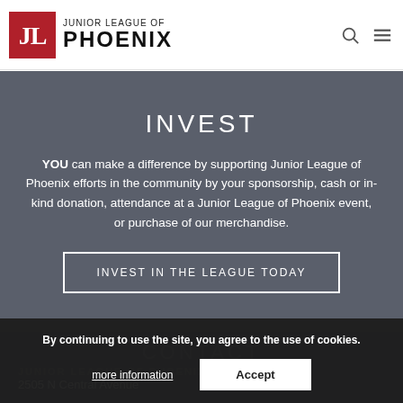[Figure (logo): Junior League of Phoenix logo with red JL icon and text]
INVEST
YOU can make a difference by supporting Junior League of Phoenix efforts in the community by your sponsorship, cash or in-kind donation, attendance at a Junior League of Phoenix event, or purchase of our merchandise.
INVEST IN THE LEAGUE TODAY
CONTACT
JUNIOR LEAGUE OF PHOENIX
2505 N Central Avenue
Phoenix, AZ 85004
By continuing to use the site, you agree to the use of cookies.
more information
Accept